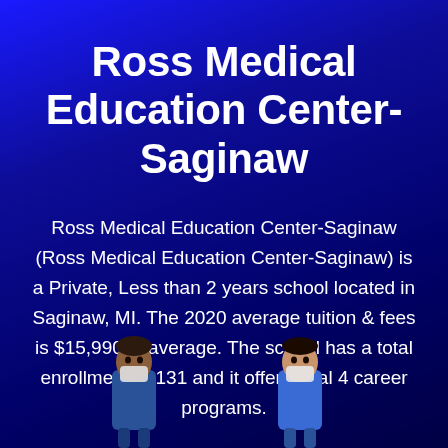Ross Medical Education Center-Saginaw
Ross Medical Education Center-Saginaw (Ross Medical Education Center-Saginaw) is a Private, Less than 2 years school located in Saginaw, MI. The 2020 average tuition & fees is $15,990 in average. The school has a total enrollment of 131 and it offers total 4 career programs.
[Figure (illustration): Two illustrated figures of medical workers/students wearing face masks at the bottom of the page]